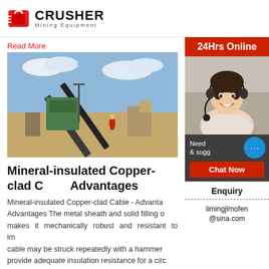CRUSHER Mining Equipment
Read More
[Figure (photo): Outdoor mining/crushing site with industrial machinery, conveyor belts, and crusher equipment under a partly cloudy sky]
Mineral-insulated Copper-clad Cable Advantages
Mineral-insulated Copper-clad Cable - Advantages Advantages The metal sheath and solid filling of makes it mechanically robust and resistant to im cable may be struck repeatedly with a hammer provide adequate insulation resistance for a circ
Read More
[Figure (photo): Bottom portion of another article image showing blue industrial equipment outdoors]
[Figure (photo): Sidebar: 24Hrs Online support - woman with headset customer service photo]
Need & suggestions
Chat Now
Enquiry
limingjlmofen@sina.com